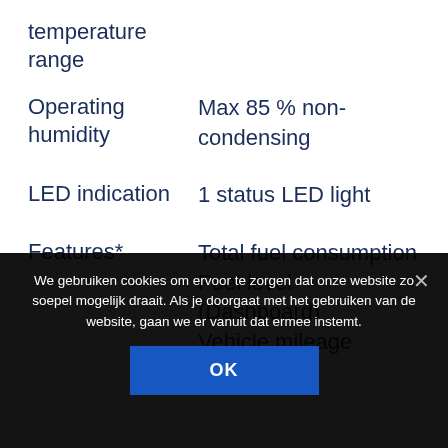| Property | Value |
| --- | --- |
| temperature range |  |
| Operating humidity | Max 85 % non-condensing |
| LED indication | 1 status LED light |
| Features* | Total fuel consumption
Fuel level (Dashboard)
Vehicle mileage
Door status |
We gebruiken cookies om ervoor te zorgen dat onze website zo soepel mogelijk draait. Als je doorgaat met het gebruiken van de website, gaan we er vanuit dat ermee instemt.